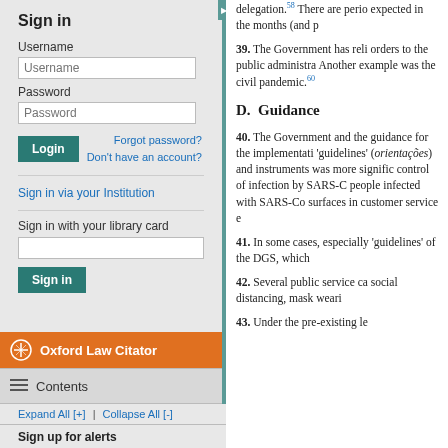Sign in
Username
Password
Forgot password? Don't have an account?
Sign in via your Institution
Sign in with your library card
Oxford Law Citator
Contents
Expand All [+] | Collapse All [-]
Sign up for alerts
delegation.58 There are perio expected in the months (and p
39.  The Government has reli orders to the public administra Another example was the civil pandemic.60
D.  Guidance
40.  The Government and the guidance for the implementati 'guidelines' (orientações) and instruments was more signific control of infection by SARS-C people infected with SARS-Co surfaces in customer service e
41.  In some cases, especially 'guidelines' of the DGS, which
42.  Several public service ca social distancing, mask weari
43.  Under the pre-existing le